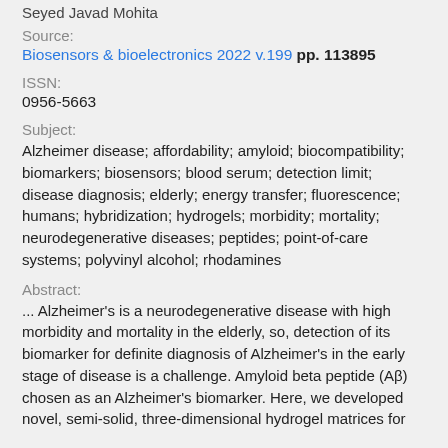Seyed Javad Mohita
Source:
Biosensors & bioelectronics 2022 v.199 pp. 113895
ISSN:
0956-5663
Subject:
Alzheimer disease; affordability; amyloid; biocompatibility; biomarkers; biosensors; blood serum; detection limit; disease diagnosis; elderly; energy transfer; fluorescence; humans; hybridization; hydrogels; morbidity; mortality; neurodegenerative diseases; peptides; point-of-care systems; polyvinyl alcohol; rhodamines
Abstract:
... Alzheimer's is a neurodegenerative disease with high morbidity and mortality in the elderly, so, detection of its biomarker for definite diagnosis of Alzheimer's in the early stage of disease is a challenge. Amyloid beta peptide (Aβ) chosen as an Alzheimer's biomarker. Here, we developed novel, semi-solid, three-dimensional hydrogel matrices for